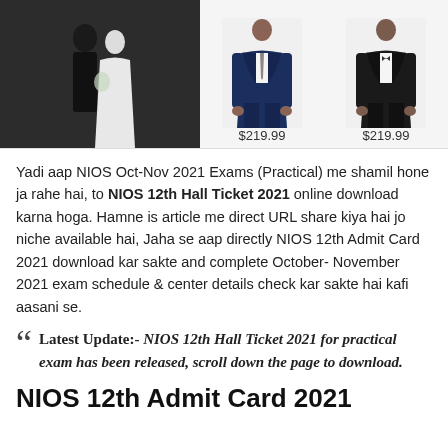[Figure (photo): Top banner area with three images: left image showing a wedding couple in formal attire (dark background), center showing a man in a navy blue suit priced at $219.99, right showing a man in a black suit priced at $219.99]
Yadi aap NIOS Oct-Nov 2021 Exams (Practical) me shamil hone ja rahe hai, to NIOS 12th Hall Ticket 2021 online download karna hoga. Hamne is article me direct URL share kiya hai jo niche available hai, Jaha se aap directly NIOS 12th Admit Card 2021 download kar sakte and complete October- November 2021 exam schedule & center details check kar sakte hai kafi aasani se.
Latest Update:- NIOS 12th Hall Ticket 2021 for practical exam has been released, scroll down the page to download.
NIOS 12th Admit Card 2021